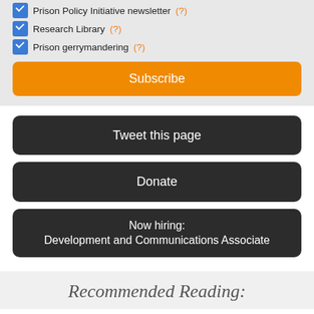Prison Policy Initiative newsletter (?)
Research Library (?)
Prison gerrymandering (?)
Subscribe
Tweet this page
Donate
Now hiring: Development and Communications Associate
Recommended Reading: